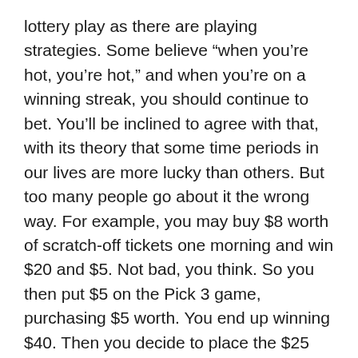lottery play as there are playing strategies. Some believe “when you’re hot, you’re hot,” and when you’re on a winning streak, you should continue to bet. You’ll be inclined to agree with that, with its theory that some time periods in our lives are more lucky than others. But too many people go about it the wrong way. For example, you may buy $8 worth of scratch-off tickets one morning and win $20 and $5. Not bad, you think. So you then put $5 on the Pick 3 game, purchasing $5 worth. You end up winning $40. Then you decide to place the $25 you got from the instant tickets on the Powerball.
You don’t win anything on the Powerball. So, how did you do? You originally spent $8 on the scratch-